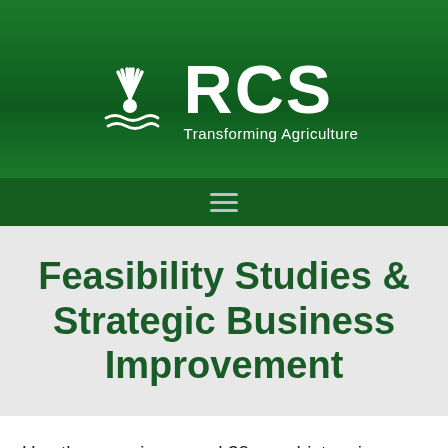[Figure (logo): RCS logo with sunburst/wheat icon and text 'RCS Transforming Agriculture' on a green gradient background]
Feasibility Studies & Strategic Business Improvement
Use the experience and 30 year history in agriculture of RCS to conduct detailed feasibility studies into acquisitions or fixing non performing assets.